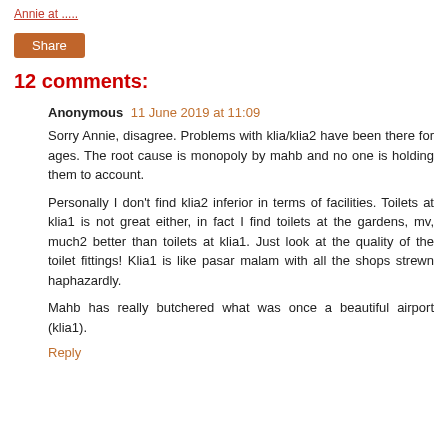Annie at .....
Share
12 comments:
Anonymous 11 June 2019 at 11:09
Sorry Annie, disagree. Problems with klia/klia2 have been there for ages. The root cause is monopoly by mahb and no one is holding them to account.
Personally I don't find klia2 inferior in terms of facilities. Toilets at klia1 is not great either, in fact I find toilets at the gardens, mv, much2 better than toilets at klia1. Just look at the quality of the toilet fittings! Klia1 is like pasar malam with all the shops strewn haphazardly.
Mahb has really butchered what was once a beautiful airport (klia1).
Reply